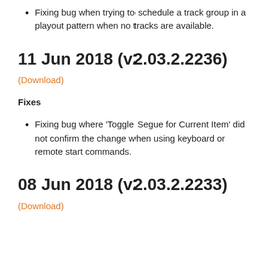Fixing bug when trying to schedule a track group in a playout pattern when no tracks are available.
11 Jun 2018 (v2.03.2.2236)
(Download)
Fixes
Fixing bug where 'Toggle Segue for Current Item' did not confirm the change when using keyboard or remote start commands.
08 Jun 2018 (v2.03.2.2233)
(Download)